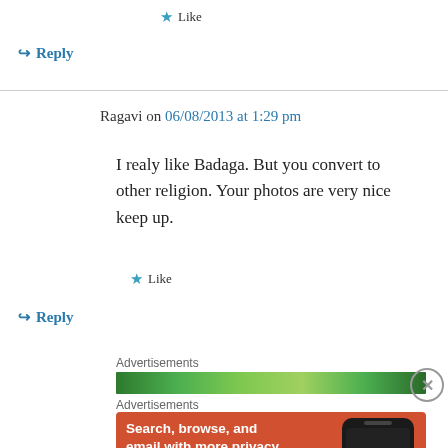★ Like
↪ Reply
Ragavi on 06/08/2013 at 1:29 pm
I realy like Badaga. But you convert to other religion. Your photos are very nice keep up.
★ Like
↪ Reply
Advertisements
[Figure (screenshot): Green banner advertisement bar]
Advertisements
[Figure (screenshot): DuckDuckGo advertisement: Search, browse, and email with more privacy. All in One Free App]